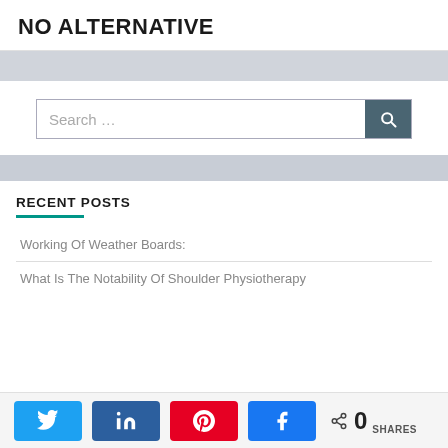NO ALTERNATIVE
[Figure (screenshot): Search bar with text 'Search ...' and a teal search button icon]
RECENT POSTS
Working Of Weather Boards:
What Is The Notability Of Shoulder Physiotherapy
[Figure (infographic): Social sharing bar with Twitter, LinkedIn, Pinterest, Facebook buttons and share count showing 0 SHARES]